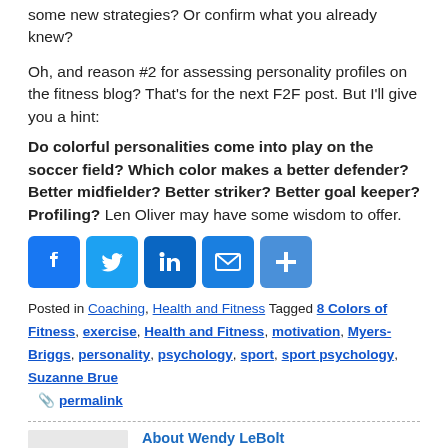some new strategies? Or confirm what you already knew?
Oh, and reason #2 for assessing personality profiles on the fitness blog? That's for the next F2F post. But I'll give you a hint:
Do colorful personalities come into play on the soccer field? Which color makes a better defender? Better midfielder? Better striker? Better goal keeper? Profiling? Len Oliver may have some wisdom to offer.
[Figure (infographic): Social sharing buttons: Facebook (blue), Twitter (light blue), LinkedIn (dark blue), Email (blue envelope), Share/Add (blue plus)]
Posted in Coaching, Health and Fitness Tagged 8 Colors of Fitness, exercise, Health and Fitness, motivation, Myers-Briggs, personality, psychology, sport, sport psychology, Suzanne Brue
📎 permalink
[Figure (logo): Fit2Finish logo — blue arrow with palm tree graphic and FIT2FINISH text]
About Wendy LeBolt
Since 2005, Fit2Finish has been working with parents, coaches, and athletes to keep youth sports healthy. Injuries and burnout should not be sidelining our kids, but young players need special